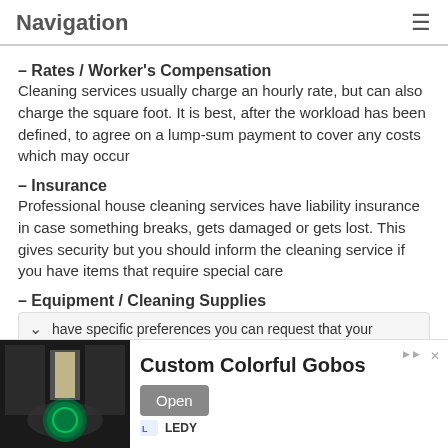Navigation
– Rates / Worker's Compensation
Cleaning services usually charge an hourly rate, but can also charge the square foot. It is best, after the workload has been defined, to agree on a lump-sum payment to cover any costs which may occur
– Insurance
Professional house cleaning services have liability insurance in case something breaks, gets damaged or gets lost. This gives security but you should inform the cleaning service if you have items that require special care
– Equipment / Cleaning Supplies
have specific preferences you can request that your
[Figure (photo): Advertisement banner showing a dark room with a colorful circular projected logo on the floor, for Custom Colorful Gobos by LEDY]